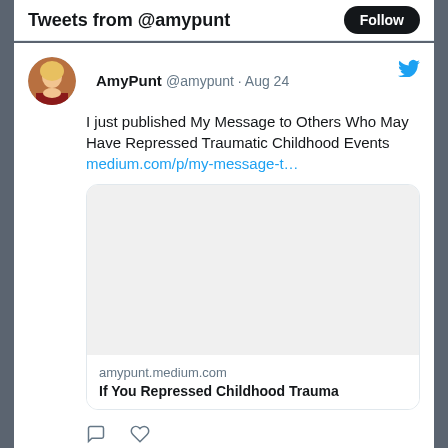Tweets from @amypunt
AmyPunt @amypunt · Aug 24
I just published My Message to Others Who May Have Repressed Traumatic Childhood Events medium.com/p/my-message-t…
[Figure (screenshot): Link preview card showing amypunt.medium.com / If You Repressed Childhood Trauma]
View more on Twitter